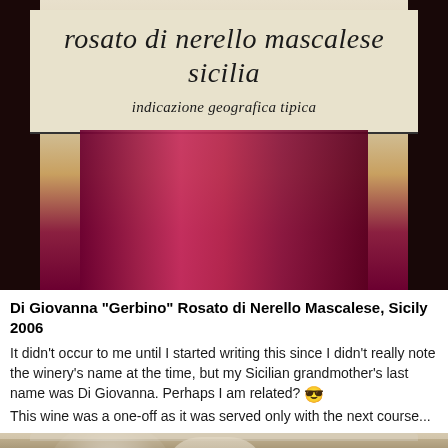[Figure (photo): Close-up photo of a wine bottle label reading 'rosato di nerello mascalese sicilia' and 'indicazione geografica tipica', with dark red/crimson wine visible below the label. Dark background with hands partially visible.]
Di Giovanna "Gerbino" Rosato di Nerello Mascalese, Sicily 2006
It didn't occur to me until I started writing this since I didn't really note the winery's name at the time, but my Sicilian grandmother's last name was Di Giovanna. Perhaps I am related? 😎
This wine was a one-off as it was served only with the next course...
[Figure (photo): Close-up photo of a white bowl or plate with wine glasses visible in the background, warm ambient lighting.]